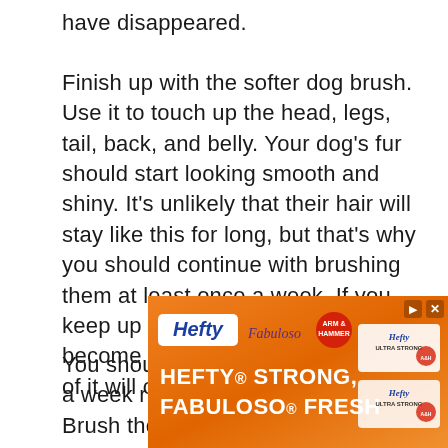have disappeared.
Finish up with the softer dog brush. Use it to touch up the head, legs, tail, back, and belly. Your dog’s fur should start looking smooth and shiny. It’s unlikely that their hair will stay like this for long, but that’s why you should continue with brushing them at least once a week. If you keep up this schedule, their fur will become easier to groom, and less of it will cover your furniture.
You should not stray from the once a week rule for brushing your dog. Brush them too
[Figure (other): Advertisement banner for Hefty and Fabuloso products. Orange background with Hefty logo, Fabuloso logo, Arm & Hammer circle logo on left side. Bold white text reads 'HEFTY STRONG, FABULOSO FRESH'. Right side shows product images of Hefty Ultra Strong trash bags. Control buttons (play and X) in top right corner.]